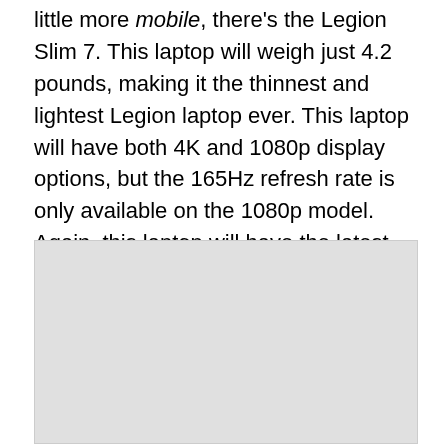little more mobile, there's the Legion Slim 7. This laptop will weigh just 4.2 pounds, making it the thinnest and lightest Legion laptop ever. This laptop will have both 4K and 1080p display options, but the 165Hz refresh rate is only available on the 1080p model. Again, this laptop will have the latest AMD and Nvidia parts. However, we don't have a price or release date yet.
[Figure (photo): A light gray placeholder image block]